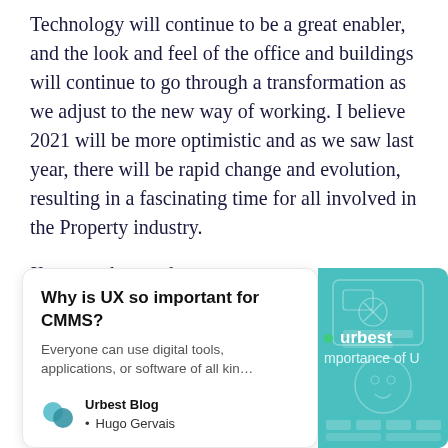Technology will continue to be a great enabler, and the look and feel of the office and buildings will continue to go through a transformation as we adjust to the new way of working. I believe 2021 will be more optimistic and as we saw last year, there will be rapid change and evolution, resulting in a fascinating time for all involved in the Property industry.
You can also read:
[Figure (other): A card widget with title 'Why is UX so important for CMMS?', description text 'Everyone can use digital tools, applications, or software of all kin...', logo circles for Urbest Blog, author Hugo Gervais, and a teal/cyan image overlay with 'urbest' branding and 'mportance of U' text visible.]